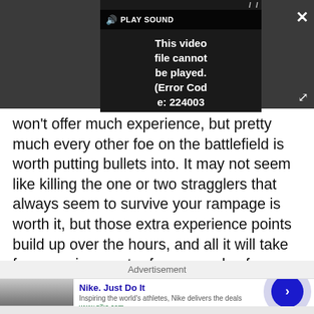[Figure (screenshot): Video player overlay showing error message 'This video file cannot be played. (Error Code: 224003)' with PLAY SOUND button, close X button, and expand arrows on dark background]
won't offer much experience, but pretty much every other foe on the battlefield is worth putting bullets into. It may not seem like killing the one or two stragglers that always seem to survive your rampage is worth it, but those extra experience points build up over the hours, and all it will take from you is an extra few seconds of shooting.
Advertisement
[Figure (screenshot): Nike advertisement: 'Nike. Just Do It' - Inspiring the world's athletes, Nike delivers the deals. www.nike.com - with thumbnail image and navigation arrow]